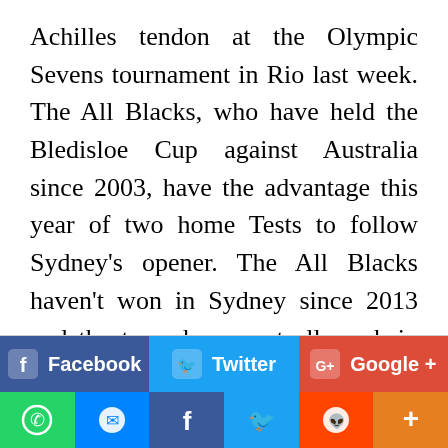Achilles tendon at the Olympic Sevens tournament in Rio last week. The All Blacks, who have held the Bledisloe Cup against Australia since 2003, have the advantage this year of two home Tests to follow Sydney's opener. The All Blacks haven't won in Sydney since 2013 and the team has spent all week in the city preparing for the Test. "In terms of the Bledisloe Cup, a first game is pretty crucial," Read said. "We know the significance of playing in Sydney and a Bledisloe Cup game is always a massive occasion. "We know how tough it's going to be as it always is with these two sides and it's going to be a big game."
[Figure (infographic): Social share buttons row: Facebook (blue), Twitter (cyan), Google+ (red)]
[Figure (infographic): Bottom app share bar: WhatsApp (green), Messenger (blue), Facebook (dark blue), Twitter (cyan), Reddit (orange-red), More (orange)]